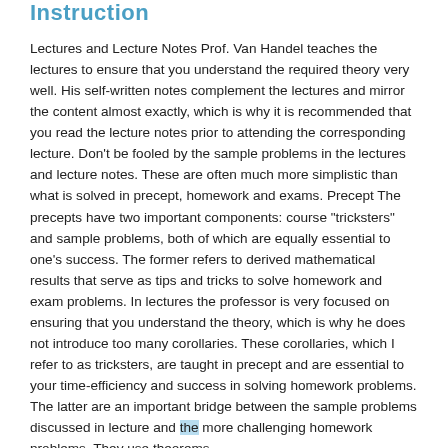Instruction
Lectures and Lecture Notes Prof. Van Handel teaches the lectures to ensure that you understand the required theory very well. His self-written notes complement the lectures and mirror the content almost exactly, which is why it is recommended that you read the lecture notes prior to attending the corresponding lecture. Don't be fooled by the sample problems in the lectures and lecture notes. These are often much more simplistic than what is solved in precept, homework and exams. Precept The precepts have two important components: course “tricksters” and sample problems, both of which are equally essential to one’s success. The former refers to derived mathematical results that serve as tips and tricks to solve homework and exam problems. In lectures the professor is very focused on ensuring that you understand the theory, which is why he does not introduce too many corollaries. These corollaries, which I refer to as tricksters, are taught in precept and are essential to your time-efficiency and success in solving homework problems. The latter are an important bridge between the sample problems discussed in lecture and the more challenging homework problems. They use theorems